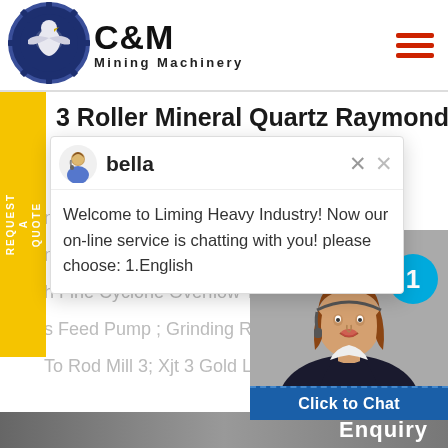[Figure (logo): C&M Mining Machinery logo with eagle gear icon in navy blue]
3 Roller Mineral Quartz Raymond Mill 3016
nufacturers Ball Mill For Grinding
n Quality 3 Roller Calcite Raymo
h Fine Cyclone Overflow To The
s Feed Pump ; Grinding Rod Wit
To Rod Mill 3; Xjt 3 Gold Leaching ...
[Figure (screenshot): Live chat popup with agent named bella, message: Welcome to Liming Heavy Industry! Now our on-line service is chatting with you! please choose: 1.English]
[Figure (photo): Customer service agent photo with headset, cyan badge showing 1, Click to Chat button]
Enquiry